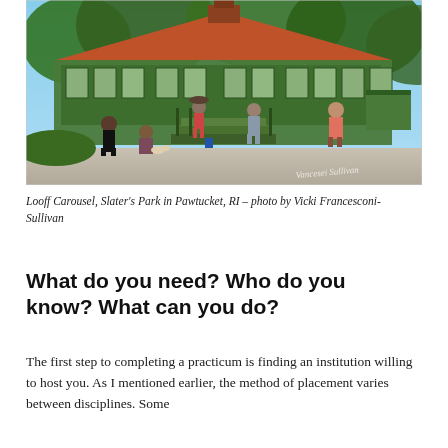[Figure (photo): Outdoor photo of a large green Victorian-style carousel pavilion building with steps and railings. Several people stand in front of the building, some on the steps. Trees visible in the background. A watermark signature appears in the lower right corner.]
Looff Carousel, Slater's Park in Pawtucket, RI – photo by Vicki Francesconi-Sullivan
What do you need? Who do you know? What can you do?
The first step to completing a practicum is finding an institution willing to host you. As I mentioned earlier, the method of placement varies between disciplines. Some